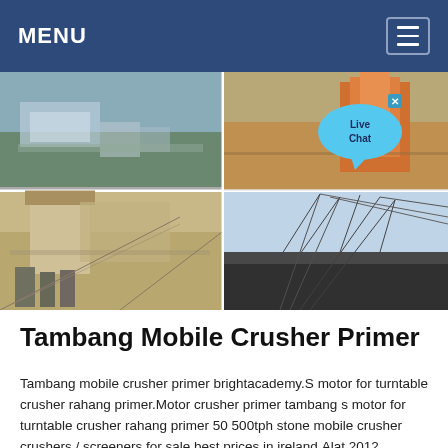MENU
[Figure (photo): Four-panel photo grid showing mining and crushing operations: top-left shows an open-pit mining site with conveyor structures; top-right shows excavation machinery and orange equipment on a road; bottom-left shows a jaw crusher plant with workers in the foreground; bottom-right shows a large dragline excavator crane with coal stockpile.]
Tambang Mobile Crusher Primer
Tambang mobile crusher primer brightacademy.S motor for turntable crusher rahang primer.Motor crusher primer tambang s motor for turntable crusher rahang primer 50 500tph stone mobile crusher crushers / screeners for sale best prices in ireland.Alat 2012.